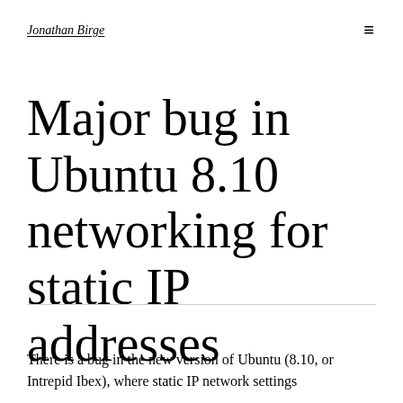Jonathan Birge
Major bug in Ubuntu 8.10 networking for static IP addresses
There is a bug in the new version of Ubuntu (8.10, or Intrepid Ibex), where static IP network settings